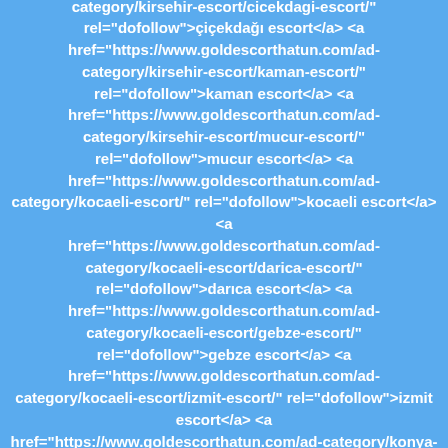escort</a> <a href="https://www.goldescorthatun.com/ad-category/kirsehir-escort/" rel="dofollow">kırşehir escort</a> <a href="https://www.goldescorthatun.com/ad-category/kirsehir-escort/cicekdagi-escort/" rel="dofollow">çiçekdağı escort</a> <a href="https://www.goldescorthatun.com/ad-category/kirsehir-escort/kaman-escort/" rel="dofollow">kaman escort</a> <a href="https://www.goldescorthatun.com/ad-category/kirsehir-escort/mucur-escort/" rel="dofollow">mucur escort</a> <a href="https://www.goldescorthatun.com/ad-category/kocaeli-escort/" rel="dofollow">kocaeli escort</a> <a href="https://www.goldescorthatun.com/ad-category/kocaeli-escort/darica-escort/" rel="dofollow">darıca escort</a> <a href="https://www.goldescorthatun.com/ad-category/kocaeli-escort/gebze-escort/" rel="dofollow">gebze escort</a> <a href="https://www.goldescorthatun.com/ad-category/kocaeli-escort/izmit-escort/" rel="dofollow">izmit escort</a> <a href="https://www.goldescorthatun.com/ad-category/konya-escort/" rel="dofollow">konya escort</a> <a href="https://www.goldescorthatun.com/ad-category/konya-escort/karatay-escort/" rel="dofollow">karatay escort</a> </div>